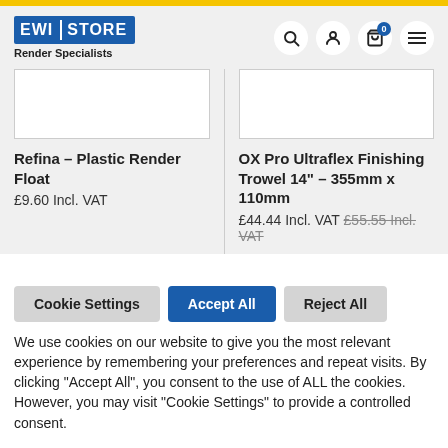[Figure (logo): EWI STORE Render Specialists logo with blue background and navigation icons]
[Figure (photo): Product image box for Refina Plastic Render Float (empty/white)]
Refina – Plastic Render Float
£9.60 Incl. VAT
[Figure (photo): Product image box for OX Pro Ultraflex Finishing Trowel 14" – 355mm x 110mm (empty/white)]
OX Pro Ultraflex Finishing Trowel 14" – 355mm x 110mm
£44.44 Incl. VAT £55.55 Incl. VAT
Cookie Settings | Accept All | Reject All
We use cookies on our website to give you the most relevant experience by remembering your preferences and repeat visits. By clicking “Accept All”, you consent to the use of ALL the cookies. However, you may visit “Cookie Settings” to provide a controlled consent.